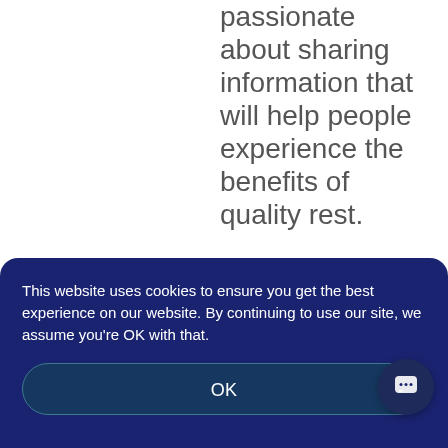passionate about sharing information that will help people experience the benefits of quality rest.
This website uses cookies to ensure you get the best experience on our website. By continuing to use our site, we assume you're OK with that.
OK